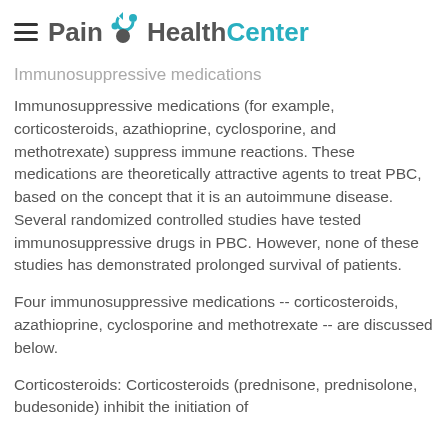Pain HealthCenter
Immunosuppressive medications
Immunosuppressive medications (for example, corticosteroids, azathioprine, cyclosporine, and methotrexate) suppress immune reactions. These medications are theoretically attractive agents to treat PBC, based on the concept that it is an autoimmune disease. Several randomized controlled studies have tested immunosuppressive drugs in PBC. However, none of these studies has demonstrated prolonged survival of patients.
Four immunosuppressive medications -- corticosteroids, azathioprine, cyclosporine and methotrexate -- are discussed below.
Corticosteroids: Corticosteroids (prednisone, prednisolone, budesonide) inhibit the initiation of